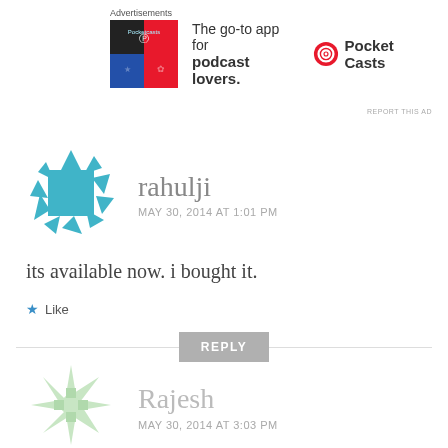[Figure (infographic): Advertisement banner for Pocket Casts app showing colorful app icon, text 'The go-to app for podcast lovers.' and Pocket Casts logo]
REPORT THIS AD
[Figure (illustration): Avatar icon for user rahulji - circular icon with teal/blue geometric diamond pattern]
rahulji
MAY 30, 2014 AT 1:01 PM
its available now. i bought it.
Like
REPLY
[Figure (illustration): Avatar icon for user Rajesh - light green geometric snowflake/star pattern]
Rajesh
MAY 30, 2014 AT 3:03 PM